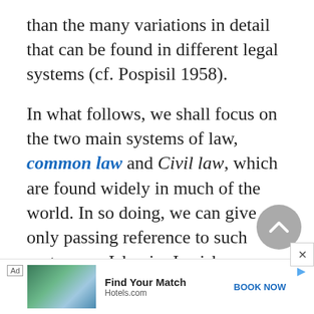than the many variations in detail that can be found in different legal systems (cf. Pospisil 1958).
In what follows, we shall focus on the two main systems of law, common law and Civil law, which are found widely in much of the world. In so doing, we can give only passing reference to such systems as Islamic, Jewish, or Tibetan law, or to the many subtle differences found in tribal law. To fur...